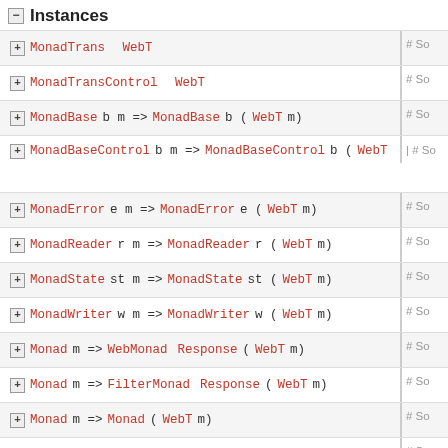Instances
MonadTrans WebT
MonadTransControl WebT
MonadBase b m => MonadBase b (WebT m)
MonadBaseControl b m => MonadBaseControl b (WebT
MonadError e m => MonadError e (WebT m)
MonadReader r m => MonadReader r (WebT m)
MonadState st m => MonadState st (WebT m)
MonadWriter w m => MonadWriter w (WebT m)
Monad m => WebMonad Response (WebT m)
Monad m => FilterMonad Response (WebT m)
Monad m => Monad (WebT m)
Functor m => Functor (WebT m)
(Monad m, Functor m) => Applicative (WebT m)
MonadIO m => MonadIO (WebT m)